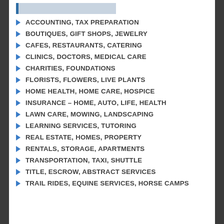ACCOUNTING, TAX PREPARATION
BOUTIQUES, GIFT SHOPS, JEWELRY
CAFES, RESTAURANTS, CATERING
CLINICS, DOCTORS, MEDICAL CARE
CHARITIES, FOUNDATIONS
FLORISTS, FLOWERS, LIVE PLANTS
HOME HEALTH, HOME CARE, HOSPICE
INSURANCE – HOME, AUTO, LIFE, HEALTH
LAWN CARE, MOWING, LANDSCAPING
LEARNING SERVICES, TUTORING
REAL ESTATE, HOMES, PROPERTY
RENTALS, STORAGE, APARTMENTS
TRANSPORTATION, TAXI, SHUTTLE
TITLE, ESCROW, ABSTRACT SERVICES
TRAIL RIDES, EQUINE SERVICES, HORSE CAMPS